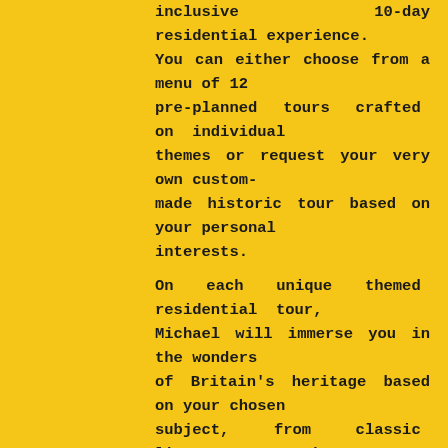inclusive 10-day residential experience. You can either choose from a menu of 12 pre-planned tours crafted on individual themes or request your very own custom-made historic tour based on your personal interests.
On each unique themed residential tour, Michael will immerse you in the wonders of Britain's heritage based on your chosen subject, from classic literature to the Scottish Highlands. Places you will visit and accommodation you will stay at, will fit your chosen theme, from castles and Victorian mansions to windmills and lighthouses.
If you would like a custom-made tour not listed, Michael can work with you to tailor an itinerary that meets your requirements.